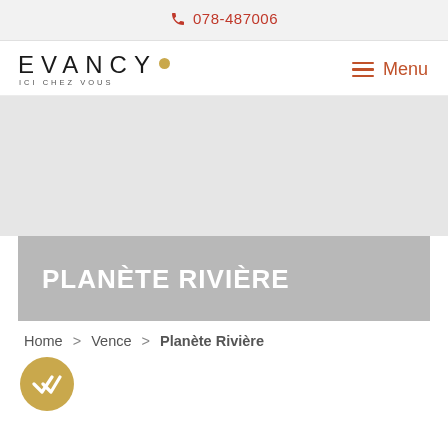078-487006
[Figure (logo): Evancy logo with tagline ICI CHEZ VOUS and gold dot]
Menu
[Figure (photo): Large hero image area, light grey placeholder]
PLANÈTE RIVIÈRE
Home > Vence > Planète Rivière
[Figure (illustration): Gold circular badge with double checkmark icon]